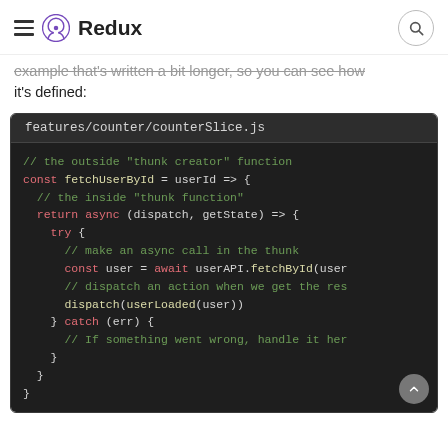Redux
example that's written a bit longer, so you can see how it's defined:
[Figure (screenshot): Code block showing features/counter/counterSlice.js with a thunk creator function fetchUserById written in JavaScript with syntax highlighting on dark background]
features/counter/counterSlice.js